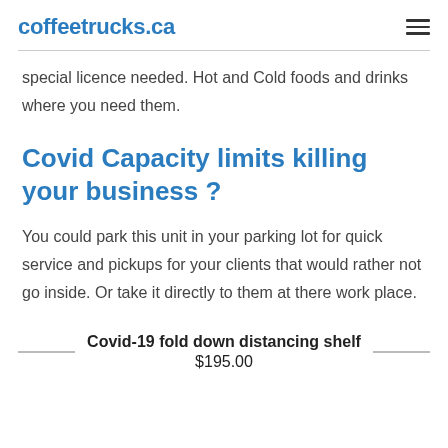coffeetrucks.ca
special licence needed. Hot and Cold foods and drinks where you need them.
Covid Capacity limits killing your business ?
You could park this unit in your parking lot for quick service and pickups for your clients that would rather not go inside. Or take it directly to them at there work place.
Covid-19 fold down distancing shelf $195.00